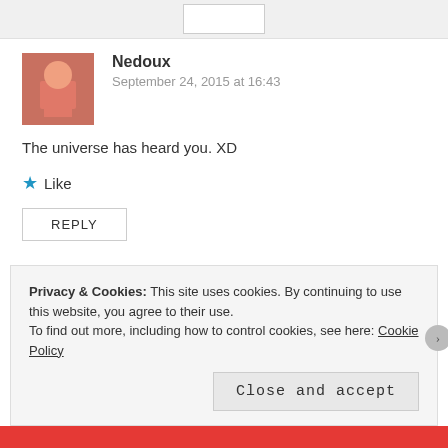Nedoux
September 24, 2015 at 16:43
The universe has heard you. XD
Like
REPLY
Nwunye
September 24, 2015 at 16:46
*Faints*
Privacy & Cookies: This site uses cookies. By continuing to use this website, you agree to their use.
To find out more, including how to control cookies, see here: Cookie Policy
Close and accept